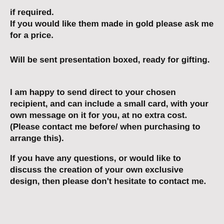if required.
If you would like them made in gold please ask me for a price.
Will be sent presentation boxed, ready for gifting.
I am happy to send direct to your chosen recipient, and can include a small card, with your own message on it for you, at no extra cost. (Please contact me before/ when purchasing to arrange this).
If you have any questions, or would like to discuss the creation of your own exclusive design, then please don't hesitate to contact me.